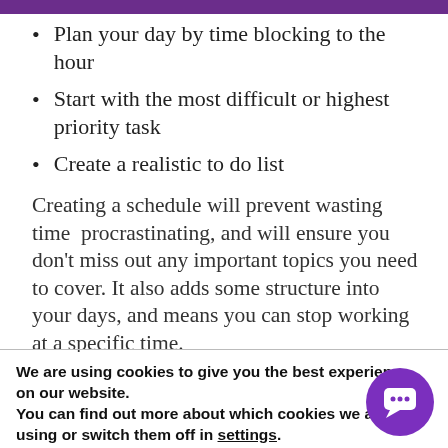Plan your day by time blocking to the hour
Start with the most difficult or highest priority task
Create a realistic to do list
Creating a schedule will prevent wasting time  procrastinating, and will ensure you don't miss out any important topics you need to cover. It also adds some structure into your days, and means you can stop working at a specific time.
We are using cookies to give you the best experience on our website.
You can find out more about which cookies we are using or switch them off in settings.
Accept